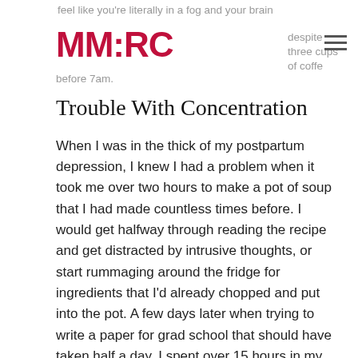feel like you're literally in a fog and your brain won't clear despite three cups of coffee before 7am.
Trouble With Concentration
When I was in the thick of my postpartum depression, I knew I had a problem when it took me over two hours to make a pot of soup that I had made countless times before. I would get halfway through reading the recipe and get distracted by intrusive thoughts, or start rummaging around the fridge for ingredients that I'd already chopped and put into the pot. A few days later when trying to write a paper for grad school that should have taken half a day, I spent over 15 hours in my office trying to write while battling constant distraction. My brain fog made me feel like there were actually cobwebs in my head and trying to push through them caused me intense anxiety.